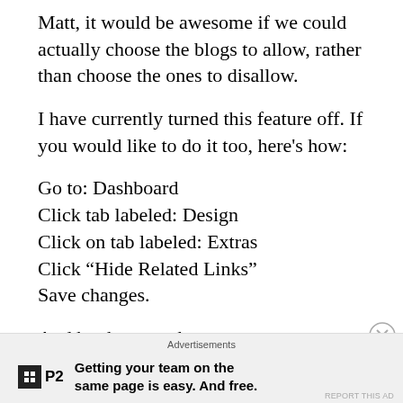Matt, it would be awesome if we could actually choose the blogs to allow, rather than choose the ones to disallow.
I have currently turned this feature off. If you would like to do it too, here’s how:
Go to: Dashboard
Click tab labeled: Design
Click on tab labeled: Extras
Click “Hide Related Links”
Save changes.
And by the way, the announcement doesn’t tell you
Advertisements
Getting your team on the same page is easy. And free.